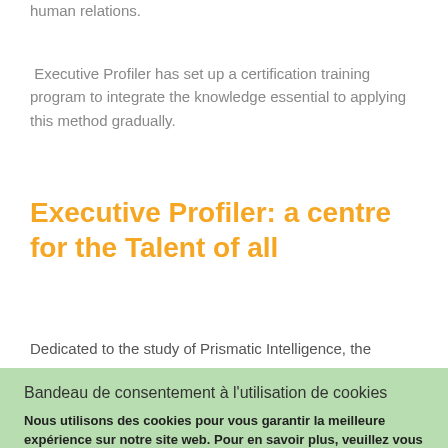human relations.
Executive Profiler has set up a certification training program to integrate the knowledge essential to applying this method gradually.
Executive Profiler: a centre for the Talent of all
Dedicated to the study of Prismatic Intelligence, the
Bandeau de consentement à l'utilisation de cookies
Nous utilisons des cookies pour vous garantir la meilleure expérience sur notre site web. Pour en savoir plus, veuillez vous référer à notre politique d'utilisation des cookies.
Personnaliser mes choix
Tout rejeter
Tout accepter